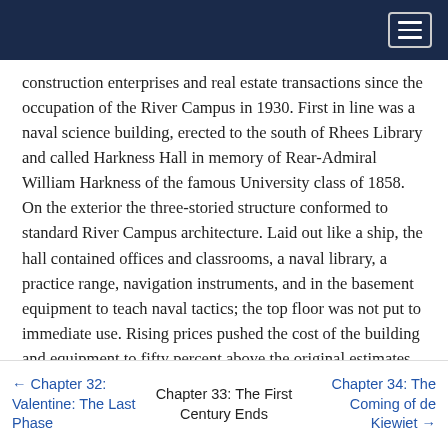[Navigation header bar]
construction enterprises and real estate transactions since the occupation of the River Campus in 1930. First in line was a naval science building, erected to the south of Rhees Library and called Harkness Hall in memory of Rear-Admiral William Harkness of the famous University class of 1858. On the exterior the three-storied structure conformed to standard River Campus architecture. Laid out like a ship, the hall contained offices and classrooms, a naval library, a practice range, navigation instruments, and in the basement equipment to teach naval tactics; the top floor was not put to immediate use. Rising prices pushed the cost of the building and equipment to fifty percent above the original estimates, and despite prolonged negotiations the Navy Department refused to bear part of the expense. As the
← Chapter 32: Valentine: The Last Phase    Chapter 33: The First Century Ends    Chapter 34: The Coming of de Kiewiet →